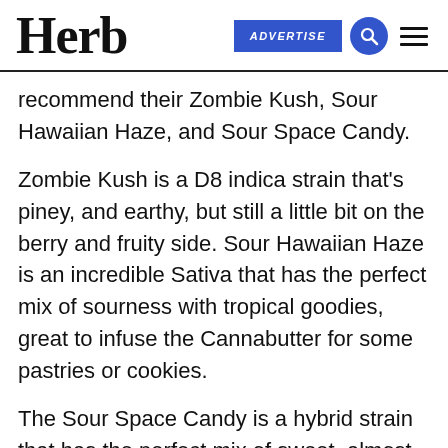Herb | ADVERTISE
recommend their Zombie Kush, Sour Hawaiian Haze, and Sour Space Candy.
Zombie Kush is a D8 indica strain that’s piney, and earthy, but still a little bit on the berry and fruity side. Sour Hawaiian Haze is an incredible Sativa that has the perfect mix of sourness with tropical goodies, great to infuse the Cannabutter for some pastries or cookies.
The Sour Space Candy is a hybrid strain that has the perfect mix of sweet, almost candy-like notes that mix perfectly with sour tones. All three of